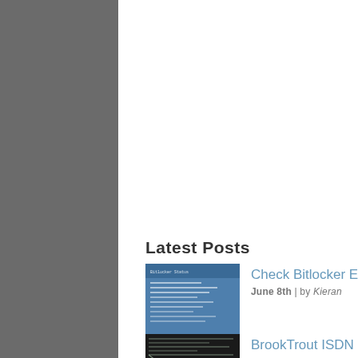Latest Posts
Check Bitlocker Encryption Status
June 8th | by Kieran
[Figure (screenshot): Thumbnail screenshot of a blue terminal/command window showing white text lines on a blue background]
BrookTrout ISDN Cause Codes
August 19th | by Kieran
[Figure (screenshot): Thumbnail screenshot of dark terminal window with green/white text lines]